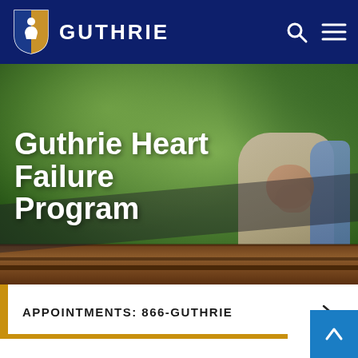Guthrie
[Figure (photo): Hero image of elderly person sitting on a wooden bench outdoors among green foliage, with the Guthrie Heart Failure Program title overlaid in bold white text.]
Guthrie Heart Failure Program
APPOINTMENTS: 866-GUTHRIE